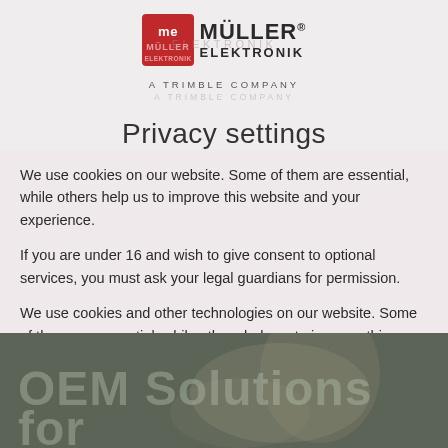[Figure (logo): Müller Elektronik logo with red ME square and text MÜLLER ELEKTRONIK, A TRIMBLE COMPANY]
Privacy settings
We use cookies on our website. Some of them are essential, while others help us to improve this website and your experience.
If you are under 16 and wish to give consent to optional services, you must ask your legal guardians for permission.
We use cookies and other technologies on our website. Some of them are essential, while others help us to improve this website and your experience. Personal data may be processed (e.g. IP addresses), for example for personalized ads and content or ad and content measurement. You can find more information about the use of your data in our privacy policy. You can revoke or adjust
[Figure (photo): Dark agricultural/field background image with large text 'OEM Solutions for' overlaid in light grey]